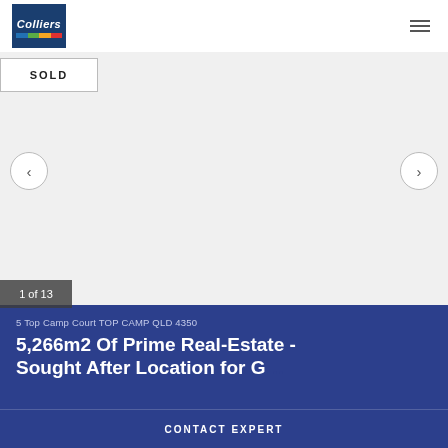[Figure (logo): Colliers logo with blue background, white italic text and colored stripes]
SOLD
[Figure (photo): Property image area (blank/white image shown as slide 1 of 13)]
1 of 13
5 Top Camp Court TOP CAMP QLD 4350
5,266m2 Of Prime Real-Estate -
CONTACT EXPERT